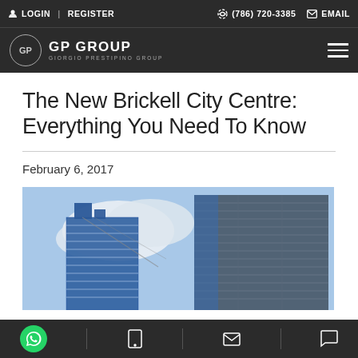LOGIN | REGISTER   (786) 720-3385   EMAIL
GP GROUP GIORGIO PRESTIPINO GROUP
The New Brickell City Centre: Everything You Need To Know
February 6, 2017
[Figure (photo): Upward-angle photo of two modern glass skyscraper towers at Brickell City Centre against a blue sky with white clouds]
WhatsApp | Phone | Email | Chat icons